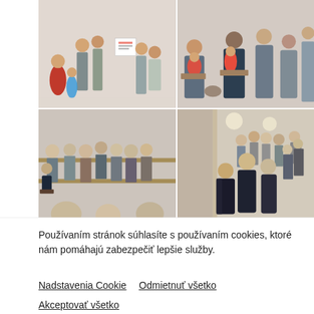[Figure (photo): Grid of four photographs showing people at a community or church gathering. Top-left: group of people including children with signs in a bright room. Top-right: adults and children sitting together. Bottom-left: elderly audience seated in pews, speaker at podium. Bottom-right: men in suits walking down a hallway or staircase.]
Používaním stránok súhlasíte s používaním cookies, ktoré nám pomáhajú zabezpečiť lepšie služby.
Nadstavenia Cookie   Odmietnuť všetko
Akceptovať všetko